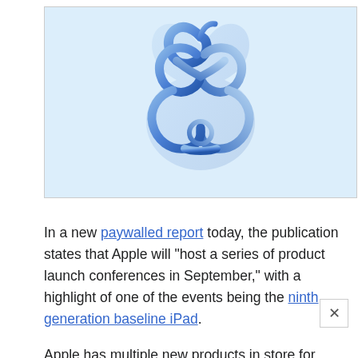[Figure (logo): Apple event logo on light blue background — a stylized blue 3D ribbon twisted into an Apple-logo shape with swirling curves, rendered in blue gradient tones on a pale blue (#dceefb) background.]
In a new paywalled report today, the publication states that Apple will "host a series of product launch conferences in September," with a highlight of one of the events being the ninth generation baseline iPad.
Apple has multiple new products in store for release this fall, ranging from the iPhone 13, Apple Watch Series 7, third-generation AirPods, an updated iPad mini, a new baseline iPad, and of course, the highly anticipated redesigned 14 and 16-inch